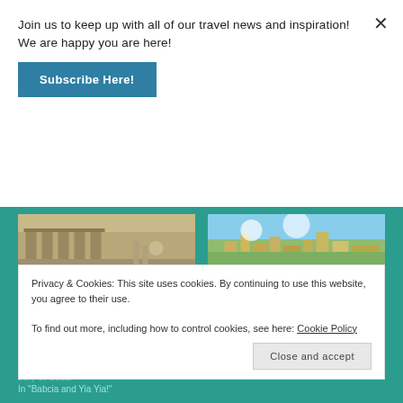Join us to keep up with all of our travel news and inspiration! We are happy you are here!
Subscribe Here!
[Figure (photo): Photo of Ancient Greece ruins/Acropolis columns with people]
Travel U Library: Ancient Greece and Modern Italy
August 18, 2022
In "Travel U for Kids"
[Figure (photo): Photo of Kansas City skyline and cityscape]
Missouri 101: Goin' To Kansas City
August 8, 2022
In "Babcia and Yia Yia!"
Privacy & Cookies: This site uses cookies. By continuing to use this website, you agree to their use.
To find out more, including how to control cookies, see here: Cookie Policy
Close and accept
July 5, 2022
In "Babcia and Yia Yia!"